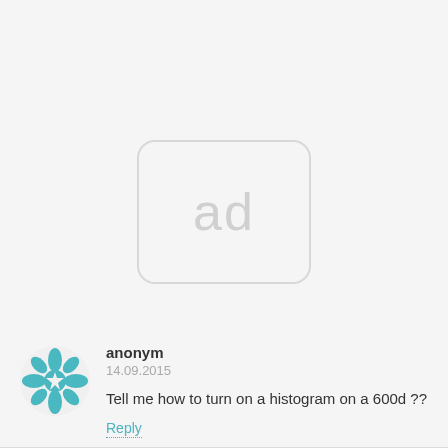[Figure (other): Ad placeholder box with rounded corners and 'ad' text in light gray]
anonym
14.09.2015
Tell me how to turn on a histogram on a 600d ??
Reply